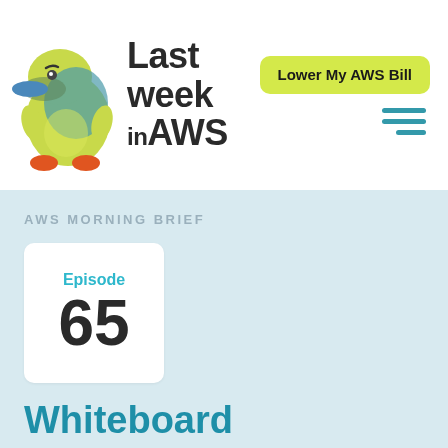[Figure (logo): Last Week in AWS logo with platypus mascot and text 'Last week in AWS']
[Figure (other): Yellow 'Lower My AWS Bill' button and hamburger menu icon]
AWS MORNING BRIEF
Episode 65
Whiteboard Confessional: My Metaphor-Spewing Poet